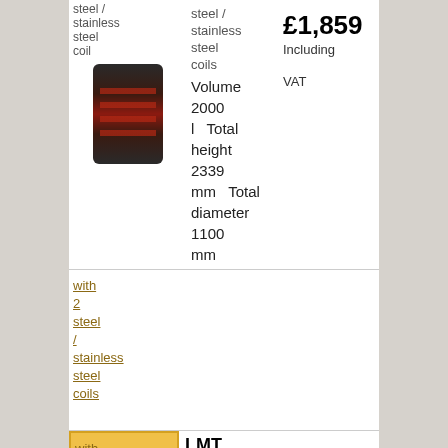[Figure (photo): Product image of a cylindrical hot water cylinder/tank with red coil windings, shown vertically]
steel / stainless steel coils Volume 2000 l Total height 2339 mm Total diameter 1100 mm
£1,859 Including VAT
with 2 steel / stainless steel coils
with 3 steel / stainless steel coils
LMT 2000 2V + N825
with 3 steel / stainless steel